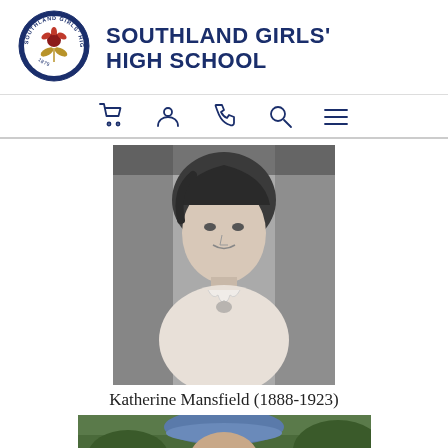[Figure (logo): Southland Girls' High School circular logo with flower/leaf emblem and year 1879]
SOUTHLAND GIRLS' HIGH SCHOOL
[Figure (other): Navigation icon bar with cart, person, phone, search, and menu icons]
[Figure (photo): Black and white portrait photograph of Katherine Mansfield, a young woman with dark hair wearing a light-colored blouse with ruffled collar]
Katherine Mansfield (1888-1923)
[Figure (photo): Color photograph partially visible of an elderly person wearing a blue beret hat, cropped at bottom of page]
English